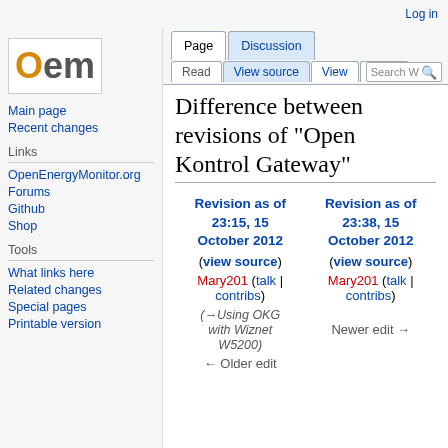Log in
[Figure (logo): Oem wiki logo with orange O]
Main page
Recent changes
Links
OpenEnergyMonitor.org
Forums
Github
Shop
Tools
What links here
Related changes
Special pages
Printable version
Page | Discussion | Read | View source | View | More | Search
Difference between revisions of "Open Kontrol Gateway"
| Revision as of 23:15, 15 October 2012 | Revision as of 23:38, 15 October 2012 |
| --- | --- |
| (view source) | (view source) |
| Mary201 (talk | contribs) | Mary201 (talk | contribs) |
| (→Using OKG with Wiznet W5200) | Newer edit → |
| ← Older edit |  |